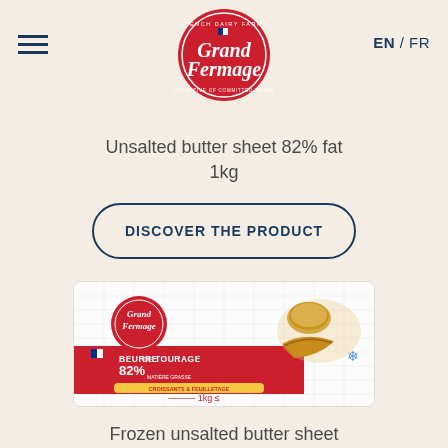Grand Fermage — EN / FR
[Figure (logo): Grand Fermage logo - red circular badge with text 'French Dairy Farms', 'Grand Fermage', 'Cooperative of Committed Farmers']
Unsalted butter sheet 82% fat 1kg
DISCOVER THE PRODUCT
[Figure (photo): Grand Fermage Beurre de Tourage 82% unsalted butter sheet 1kg package, white wrapper with red band, showing croissant and bread roll images]
Frozen unsalted butter sheet